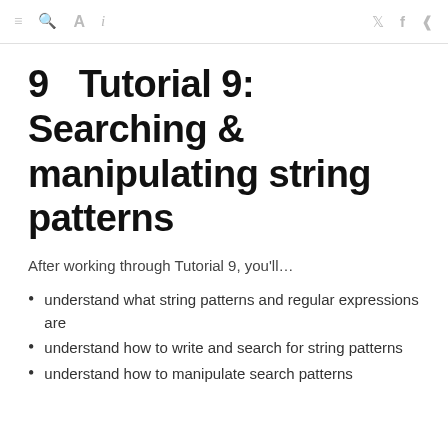≡  🔍  A  i  🐦  f  ⋲
9   Tutorial 9: Searching & manipulating string patterns
After working through Tutorial 9, you'll…
understand what string patterns and regular expressions are
understand how to write and search for string patterns
understand how to manipulate search patterns